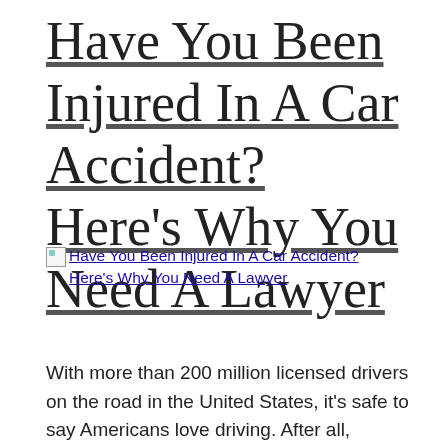Have You Been Injured In A Car Accident? Here’s Why You Need A Lawyer
[Figure (other): Broken image placeholder with alt text: Have You Been Injured In A Car Accident? Here’s Why You Need A Lawyer]
With more than 200 million licensed drivers on the road in the United States, it’s safe to say Americans love driving. After all, there’s nothing quite like taking a drive on a sunny day and riding